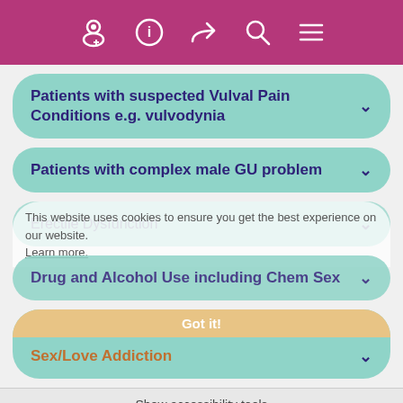Navigation header with icons: person/doctor, info, share, search, menu
Patients with suspected Vulval Pain Conditions e.g. vulvodynia
Patients with complex male GU problem
Erectile Dysfunction
This website uses cookies to ensure you get the best experience on our website. Learn more.
Drug and Alcohol Use including Chem Sex
Sex/Love Addiction
Got it!
Show accessibility tools